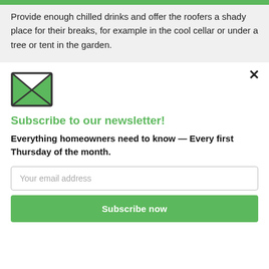Provide enough chilled drinks and offer the roofers a shady place for their breaks, for example in the cool cellar or under a tree or tent in the garden.
[Figure (illustration): Green envelope icon with open flap and X crossing pattern on the envelope body]
Subscribe to our newsletter!
Everything homeowners need to know — Every first Thursday of the month.
Your email address
Subscribe now